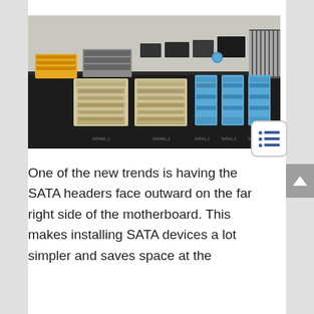[Figure (photo): Close-up photograph of a motherboard showing SATA connectors — two beige/cream colored connectors on the left and three blue SATA connectors on the right, with other motherboard components visible in the background.]
One of the new trends is having the SATA headers face outward on the far right side of the motherboard. This makes installing SATA devices a lot simpler and saves space at the